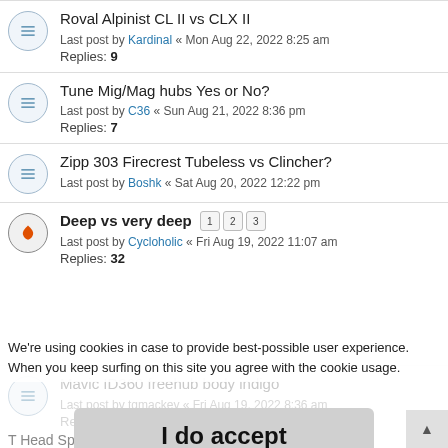Roval Alpinist CL II vs CLX II — Last post by Kardinal « Mon Aug 22, 2022 8:25 am — Replies: 9
Tune Mig/Mag hubs Yes or No? — Last post by C36 « Sun Aug 21, 2022 8:36 pm — Replies: 7
Zipp 303 Firecrest Tubeless vs Clincher? — Last post by Boshk « Sat Aug 20, 2022 12:22 pm
Deep vs very deep [1][2][3] — Last post by Cycloholic « Fri Aug 19, 2022 11:07 am — Replies: 32
We're using cookies in case to provide best-possible user experience. When you keep surfing on this site you agree with the cookie usage.
Mavic ID360 freehub body indigo — Last post by tqmackey « Fri Aug 19, 2022 8:36 am — Replies:
I do accept
T Head Spoke Compatiablity